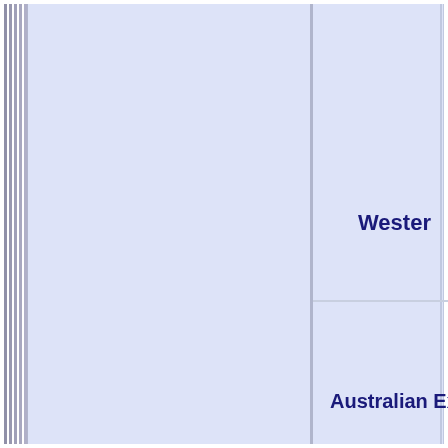[Figure (other): A treemap-style diagram showing large light blue rectangular cells separated by white/gray borders. The visible cells include a partial label 'Wester' (Western Australia or similar) in dark navy bold text in the upper-right cell, and 'Australian Externa' (Australian External Territories or similar) in dark navy bold text in the lower-right cell. The left portion shows two tall narrow cells side by side with gray/silver dividing lines, and a wider cell to their right. The image is cropped and shows only part of a larger treemap visualization.]